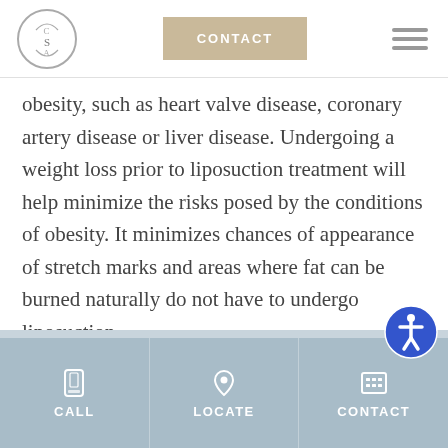CSA | CONTACT
obesity, such as heart valve disease, coronary artery disease or liver disease. Undergoing a weight loss prior to liposuction treatment will help minimize the risks posed by the conditions of obesity. It minimizes chances of appearance of stretch marks and areas where fat can be burned naturally do not have to undergo liposuction.
CALL | LOCATE | CONTACT